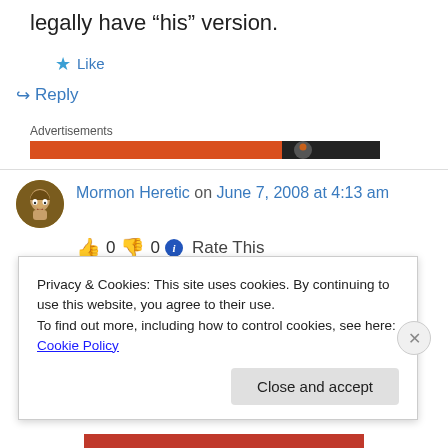legally have “his” version.
★ Like
↳ Reply
Advertisements
Mormon Heretic on June 7, 2008 at 4:13 am
👍 0 👎 0 ℹ Rate This
Privacy & Cookies: This site uses cookies. By continuing to use this website, you agree to their use.
To find out more, including how to control cookies, see here: Cookie Policy
Close and accept